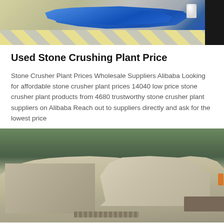[Figure (photo): Industrial scene showing blue tarpaulin/sheeting on a yellow-striped floor with a black structure and white cylinder on the right]
Used Stone Crushing Plant Price
Stone Crusher Plant Prices Wholesale Suppliers Alibaba Looking for affordable stone crusher plant prices 14040 low price stone crusher plant products from 4680 trustworthy stone crusher plant suppliers on Alibaba Reach out to suppliers directly and ask for the lowest price
[Figure (photo): Large stone crushing machine/plant equipment in beige/cream color photographed outdoors with trees in the background]